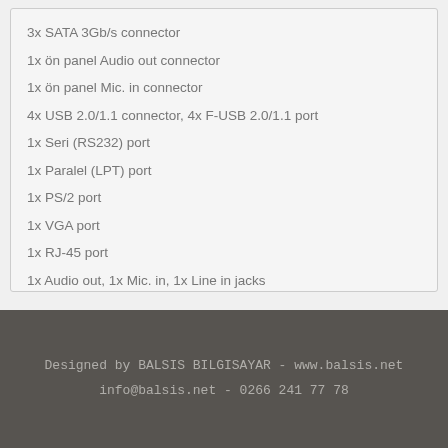3x SATA 3Gb/s connector
1x ön panel Audio out connector
1x ön panel Mic. in connector
4x USB 2.0/1.1 connector, 4x F-USB 2.0/1.1 port
1x Seri (RS232) port
1x Paralel (LPT) port
1x PS/2 port
1x VGA port
1x RJ-45 port
1x Audio out, 1x Mic. in, 1x Line in jacks
Designed by BALSIS BILGISAYAR - www.balsis.net
info@balsis.net - 0266 241 77 78